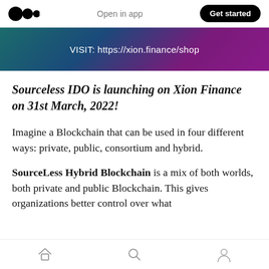Open in app  Get started
[Figure (screenshot): Dark teal-to-purple gradient banner with white text: VISIT: https://xion.finance/shop]
VISIT: https://xion.finance/shop
Sourceless IDO is launching on Xion Finance on 31st March, 2022!
Imagine a Blockchain that can be used in four different ways: private, public, consortium and hybrid.
SourceLess Hybrid Blockchain is a mix of both worlds, both private and public Blockchain. This gives organizations better control over what
Home  Search  Profile